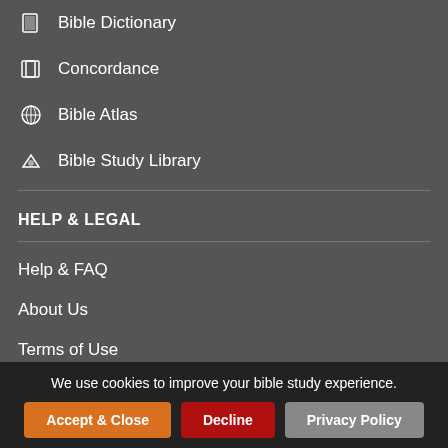Bible Dictionary
Concordance
Bible Atlas
Bible Study Library
HELP & LEGAL
Help & FAQ
About Us
Terms of Use
Privacy Policy
Copyright Notice
We use cookies to improve your bible study experience.